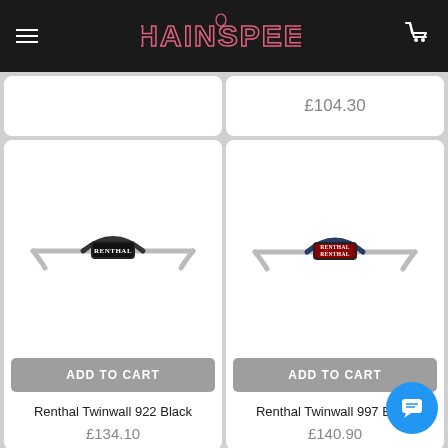CHAINSPEED
£104.30
[Figure (photo): Renthal Twinwall 922 Black handlebar with bar pad, gold/black colorway]
ADD TO CART
Renthal Twinwall 922 Black
£134.10
[Figure (photo): Renthal Twinwall 997 Black handlebar with bar pad, gold/black colorway]
ADD TO CART
Renthal Twinwall 997 Black
£140.90